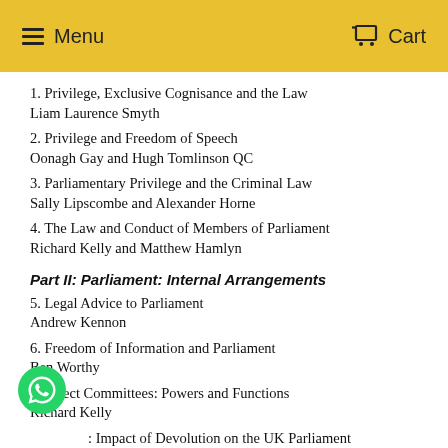Menu   Cart
1. Privilege, Exclusive Cognisance and the Law
Liam Laurence Smyth
2. Privilege and Freedom of Speech
Oonagh Gay and Hugh Tomlinson QC
3. Parliamentary Privilege and the Criminal Law
Sally Lipscombe and Alexander Horne
4. The Law and Conduct of Members of Parliament
Richard Kelly and Matthew Hamlyn
Part II: Parliament: Internal Arrangements
5. Legal Advice to Parliament
Andrew Kennon
6. Freedom of Information and Parliament
Ben Worthy
7. Select Committees: Powers and Functions
Richard Kelly
8. Impact of Devolution on the UK Parliament
John McEldowney